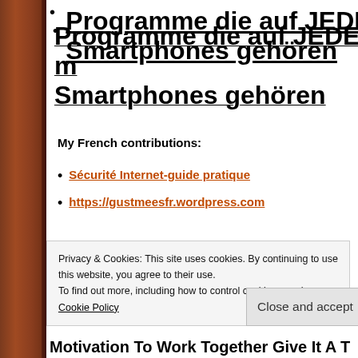Programme die auf JEDEN modernen Smartphones gehören
My French contributions:
Sécurité Internet-guide pratique
https://gustmeesfr.wordpress.com
and also with my curation here:
http://www.scoop.it/t/cyberbullying-it-s-not-a-game-it-s-your-life
Privacy & Cookies: This site uses cookies. By continuing to use this website, you agree to their use. To find out more, including how to control cookies, see here: Cookie Policy
Close and accept
Motivation To Work Together Give It A T…